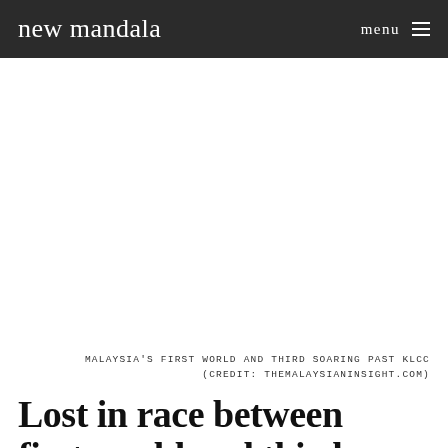new mandala   menu
[Figure (photo): White/blank image area representing a photo of Malaysia's First World and Third soaring past KLCC]
MALAYSIA'S FIRST WORLD AND THIRD SOARING PAST KLCC (CREDIT: THEMALAYSIANINSIGHT.COM)
Lost in race between first world and third